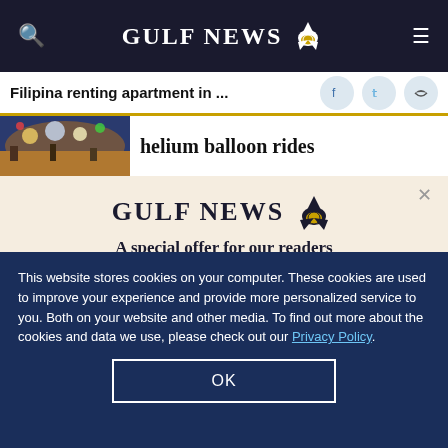GULF NEWS
Filipina renting apartment in ...
helium balloon rides
[Figure (photo): Colorful photo of city scene with balloons and lights]
GULF NEWS
A special offer for our readers
Get the two years All-Access subscription now
This website stores cookies on your computer. These cookies are used to improve your experience and provide more personalized service to you. Both on your website and other media. To find out more about the cookies and data we use, please check out our Privacy Policy.
OK